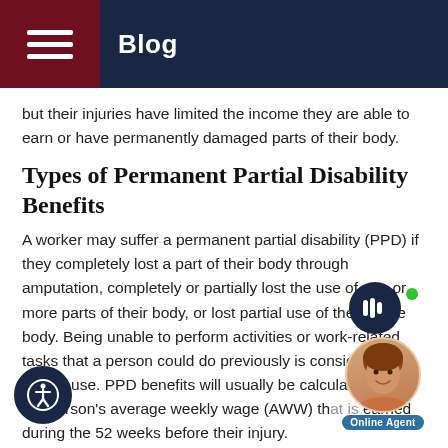Blog
but their injuries have limited the income they are able to earn or have permanently damaged parts of their body.
Types of Permanent Partial Disability Benefits
A worker may suffer a permanent partial disability (PPD) if they completely lost a part of their body through amputation, completely or partially lost the use of one or more parts of their body, or lost partial use of their entire body. Being unable to perform activities or work-related tasks that a person could do previously is considered a loss of use. PPD benefits will usually be calculated using the person's average weekly wage (AWW) that is earned during the 52 weeks before their injury.
e a person can receive PPD benefits, they m reach a condition of "maximum medical improvement"